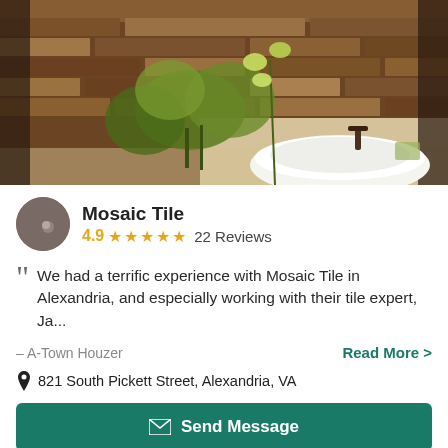[Figure (photo): Hero photo of a bathroom with a white vessel sink, green plant/orchids, and a stacked stone accent wall in warm brown tones]
Mosaic Tile
4.9 ★★★★★ 22 Reviews
We had a terrific experience with Mosaic Tile in Alexandria, and especially working with their tile expert, Ja...
– A-Town Houzer  Read More >
821 South Pickett Street, Alexandria, VA
Send Message